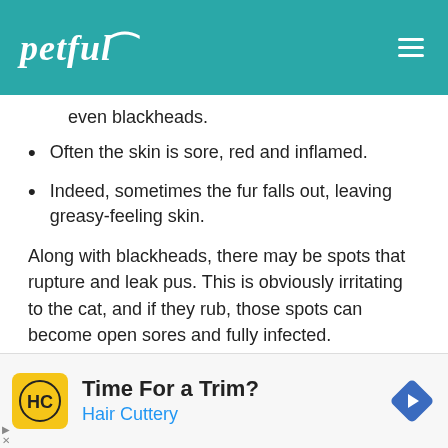petful
even blackheads.
Often the skin is sore, red and inflamed.
Indeed, sometimes the fur falls out, leaving greasy-feeling skin.
Along with blackheads, there may be spots that rupture and leak pus. This is obviously irritating to the cat, and if they rub, those spots can become open sores and fully infected.
[Figure (other): Advertisement: Time For a Trim? Hair Cuttery, with Hair Cuttery logo and navigation arrow icon]